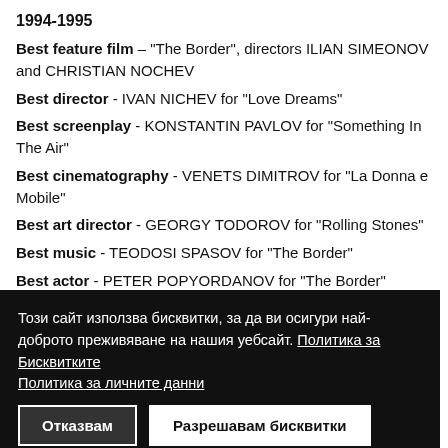1994-1995
Best feature film – "The Border", directors ILIAN SIMEONOV and CHRISTIAN NOCHEV
Best director - IVAN NICHEV for "Love Dreams"
Best screenplay - KONSTANTIN PAVLOV for "Something In The Air"
Best cinematography - VENETS DIMITROV for "La Donna e Mobile"
Best art director - GEORGY TODOROV for "Rolling Stones"
Best music - TEODOSI SPASOV for "The Border"
Best actor - PETER POPYORDANOV for "The Border"
Този сайт използва бисквитки, за да ви осигури най-доброто преживяване на нашия уебсайт. Политика за Бисквитките Политика за личните данни
history of Cinema. "The Composer", "Sunspot" and "Al..."